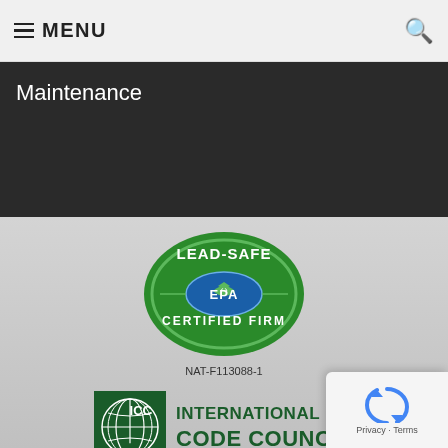MENU
Maintenance
[Figure (logo): EPA Lead-Safe Certified Firm badge with NAT-F113088-1 certification number]
NAT-F113088-1
[Figure (logo): International Code Council (ICC) logo with globe graphic]
[Figure (logo): NRCA logo (partially visible at bottom)]